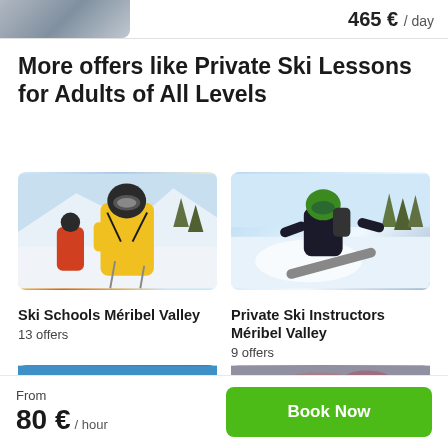465 € / day
More offers like Private Ski Lessons for Adults of All Levels
[Figure (photo): Skier in yellow jacket on a snowy mountain slope with other skiers in background]
Ski Schools Méribel Valley
13 offers
[Figure (photo): Snowboarder carving through powder snow with trees in background]
Private Ski Instructors Méribel Valley
9 offers
[Figure (photo): Partially visible ski activity photo on left]
[Figure (photo): Partially visible ski activity photo on right]
From
80 € / hour
Book Now